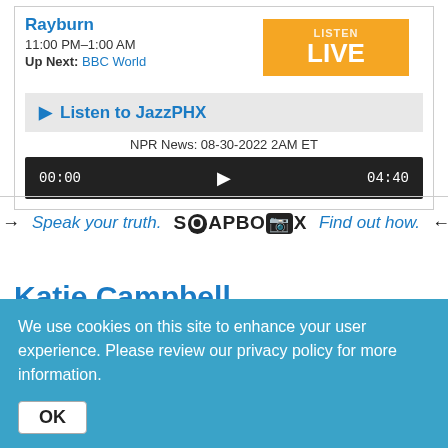Rayburn
11:00 PM–1:00 AM
Up Next: BBC World
[Figure (screenshot): Listen LIVE orange button]
▶ Listen to JazzPHX
NPR News: 08-30-2022 2AM ET
[Figure (screenshot): Audio player bar showing 00:00 play button and 04:40]
[Figure (infographic): Soapbox banner: arrows, Speak your truth. SOAPBOX Find out how. with opposing arrows]
Katie Campbell
[Figure (illustration): Black silhouette of a person lying down with camera or equipment]
We use cookies on this site to enhance your user experience. Please review our privacy policy for more information.